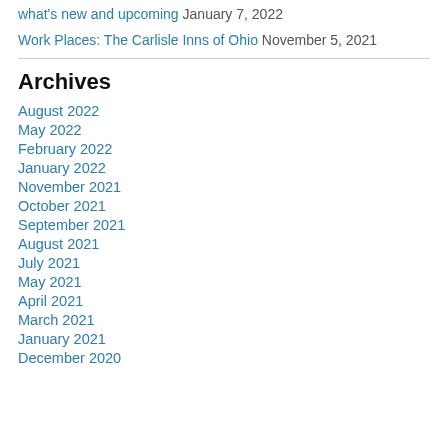what's new and upcoming January 7, 2022
Work Places: The Carlisle Inns of Ohio November 5, 2021
Archives
August 2022
May 2022
February 2022
January 2022
November 2021
October 2021
September 2021
August 2021
July 2021
May 2021
April 2021
March 2021
January 2021
December 2020